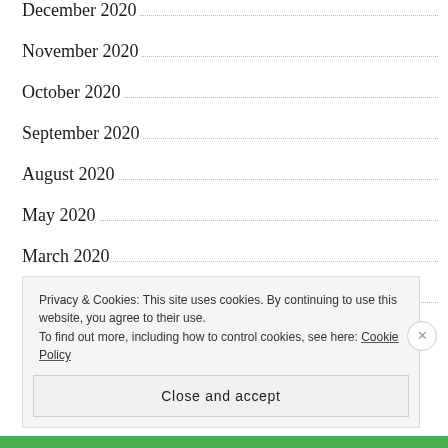December 2020
November 2020
October 2020
September 2020
August 2020
May 2020
March 2020
February 2020
Privacy & Cookies: This site uses cookies. By continuing to use this website, you agree to their use.
To find out more, including how to control cookies, see here: Cookie Policy
Close and accept